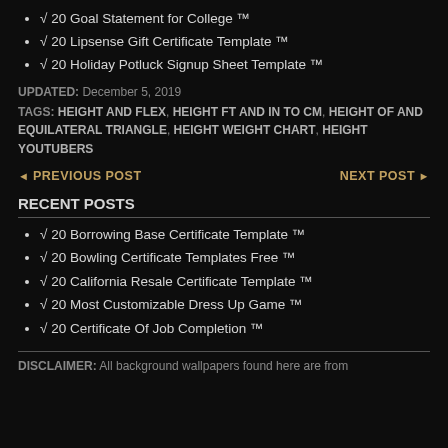√ 20 Goal Statement for College ™
√ 20 Lipsense Gift Certificate Template ™
√ 20 Holiday Potluck Signup Sheet Template ™
UPDATED: December 5, 2019
TAGS: HEIGHT AND FLEX, HEIGHT FT AND IN TO CM, HEIGHT OF AND EQUILATERAL TRIANGLE, HEIGHT WEIGHT CHART, HEIGHT YOUTUBERS
◄ PREVIOUS POST    NEXT POST ►
RECENT POSTS
√ 20 Borrowing Base Certificate Template ™
√ 20 Bowling Certificate Templates Free ™
√ 20 California Resale Certificate Template ™
√ 20 Most Customizable Dress Up Game ™
√ 20 Certificate Of Job Completion ™
DISCLAIMER: All background wallpapers found here are from